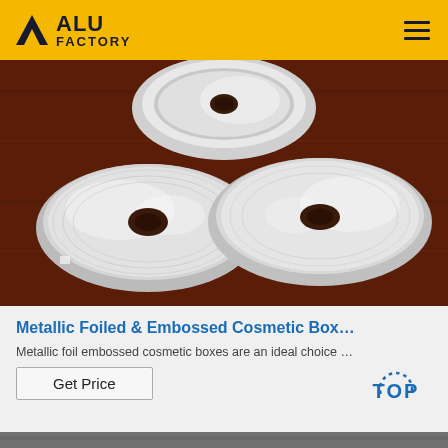ALU FACTORY
[Figure (photo): Three rolls of metallic/aluminum foil on a dark wood surface, viewed from above. Two full rolls are visible in the foreground, one partially visible at top center.]
Metallic Foiled & Embossed Cosmetic Box…
Metallic foil embossed cosmetic boxes are an ideal choice …
[Figure (other): TOP badge with dotted arc above the text TOP in blue]
[Figure (photo): Bottom strip showing partial view of another product image]